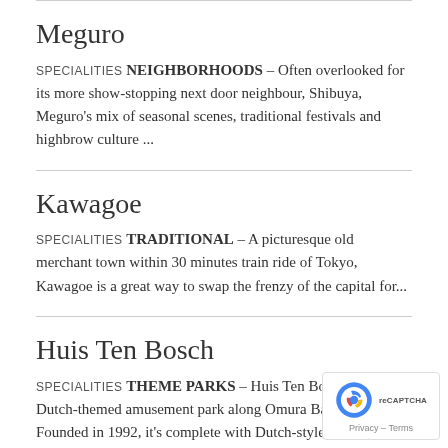Meguro
SPECIALITIES NEIGHBORHOODS - Often overlooked for its more show-stopping next door neighbour, Shibuya, Meguro's mix of seasonal scenes, traditional festivals and highbrow culture ...
Kawagoe
SPECIALITIES TRADITIONAL - A picturesque old merchant town within 30 minutes train ride of Tokyo, Kawagoe is a great way to swap the frenzy of the capital for...
Huis Ten Bosch
SPECIALITIES THEME PARKS - Huis Ten Bosch is a Dutch-themed amusement park along Omura Bay in Sasebo. Founded in 1992, it's complete with Dutch-style homes, windmills, wood...